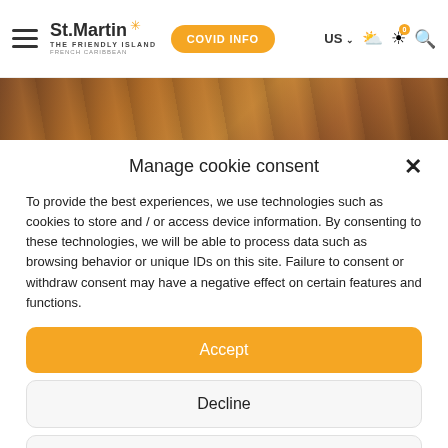St. Martin - The Friendly Island - French Caribbean | COVID INFO | US | [weather icons] [search]
[Figure (photo): Cropped background photo strip showing wooden boat/dock in warm orange-brown tones]
Manage cookie consent
To provide the best experiences, we use technologies such as cookies to store and / or access device information. By consenting to these technologies, we will be able to process data such as browsing behavior or unique IDs on this site. Failure to consent or withdraw consent may have a negative effect on certain features and functions.
Accept
Decline
See preferences
Mentions légales et confidentialité des données